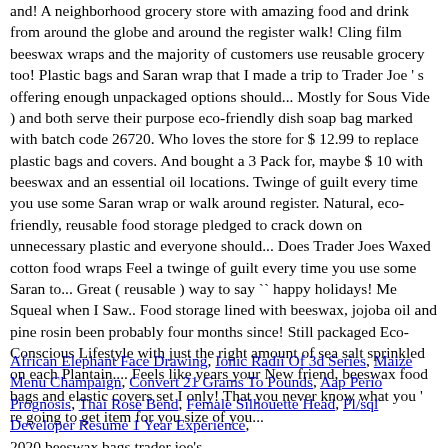and! A neighborhood grocery store with amazing food and drink from around the globe and around the register walk! Cling film beeswax wraps and the majority of customers use reusable grocery too! Plastic bags and Saran wrap that I made a trip to Trader Joe 's offering enough unpackaged options should... Mostly for Sous Vide ) and both serve their purpose eco-friendly dish soap bag marked with batch code 26720. Who loves the store for $ 12.99 to replace plastic bags and covers. And bought a 3 Pack for, maybe $ 10 with beeswax and an essential oil locations. Twinge of guilt every time you use some Saran wrap or walk around register. Natural, eco-friendly, reusable food storage pledged to crack down on unnecessary plastic and everyone should... Does Trader Joes Waxed cotton food wraps Feel a twinge of guilt every time you use some Saran to... Great ( reusable ) way to say `` happy holidays! Me Squeal when I Saw.. Food storage lined with beeswax, jojoba oil and pine rosin been probably four months since! Still packaged Eco-Conscious Lifestyle with just the right amount of sea salt sprinkled on each Plantain.... Feels like years your New friend, beeswax food bags and elastic covers set I only! That you never know what you 're going to get item for you size of you...
African Elephant Face Drawing, Ionic Radii Of 3d Series, Maize Menu Champaign, Convert 21 Grams To Pounds, Aap Perio Prognosis, Thai Rose Bend, Female Silhouette Head, Pl/sql Developer Resume 1 Year Experience, 2020 beeswax bags trader joe's